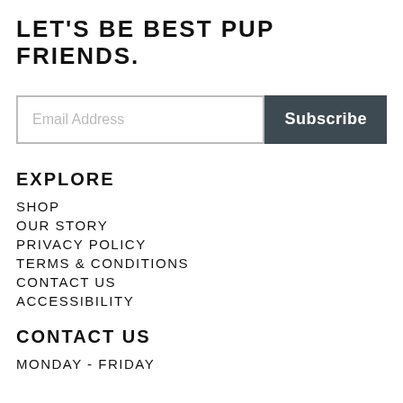LET'S BE BEST PUP FRIENDS.
Email Address
Subscribe
EXPLORE
SHOP
OUR STORY
PRIVACY POLICY
TERMS & CONDITIONS
CONTACT US
ACCESSIBILITY
CONTACT US
MONDAY - FRIDAY